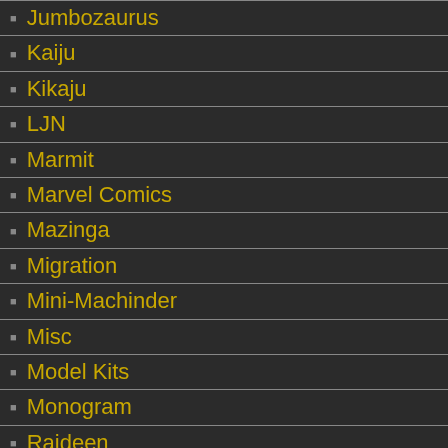Jumbozaurus
Kaiju
Kikaju
LJN
Marmit
Marvel Comics
Mazinga
Migration
Mini-Machinder
Misc
Model Kits
Monogram
Raideen
Shipping
Shogun Warriors Action
Stickers